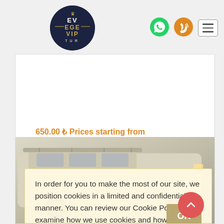[Figure (logo): EGE VIP TUR circular logo with dark navy background and gold text]
[Figure (other): WhatsApp icon - green circle with phone handset]
[Figure (other): Phone/call icon - orange circle with phone waves]
[Figure (other): Hamburger menu icon - square with three horizontal lines]
650.00 ₺ Prices starting from
In order for you to make the most of our site, we position cookies in a limited and confidential manner. You can review our Cookie Policy to examine how we use cookies and how you can control cookies. Our Cookie Policy
[Figure (photo): Mercedes VIP minibus/van vehicle photo, cream/beige colored]